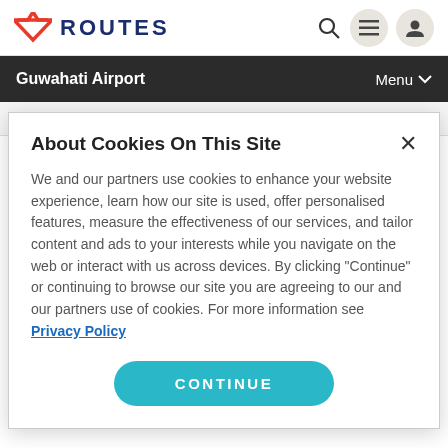ROUTES
Guwahati Airport | Menu
Posted 2 November 2016 08:30
About Cookies On This Site
We and our partners use cookies to enhance your website experience, learn how our site is used, offer personalised features, measure the effectiveness of our services, and tailor content and ads to your interests while you navigate on the web or interact with us across devices. By clicking "Continue" or continuing to browse our site you are agreeing to our and our partners use of cookies. For more information see Privacy Policy